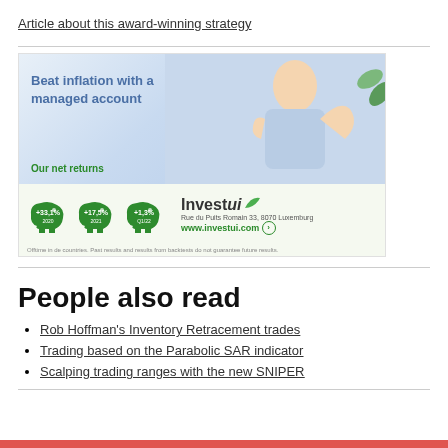Article about this award-winning strategy
[Figure (illustration): Investui advertisement banner: 'Beat inflation with a managed account' with net returns +33.1% 2020, +17.5% 2021, +1.3% Q1/22, and Investui branding with website www.investui.com]
People also read
Rob Hoffman's Inventory Retracement trades
Trading based on the Parabolic SAR indicator
Scalping trading ranges with the new SNIPER